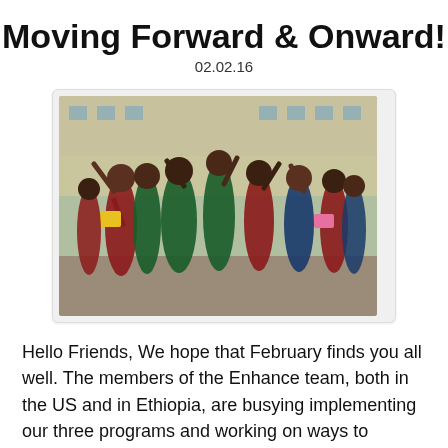Moving Forward & Onward!
02.02.16
[Figure (photo): Group of Ethiopian schoolchildren in red and green uniforms waving at the camera, standing outside a school building]
Hello Friends, We hope that February finds you all well. The members of the Enhance team, both in the US and in Ethiopia, are busying implementing our three programs and working on ways to expand our impact. We've been on the ground for one year now, and we couldn't be happier with our progress so far! Thank you so much for accompanying us on